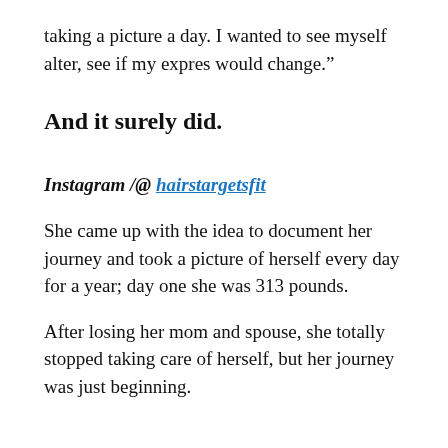taking a picture a day. I wanted to see myself alter, see if my expres would change.”
And it surely did.
Instagram /@ hairstargetsfit
She came up with the idea to document her journey and took a picture of herself every day for a year; day one she was 313 pounds.
After losing her mom and spouse, she totally stopped taking care of herself, but her journey was just beginning.